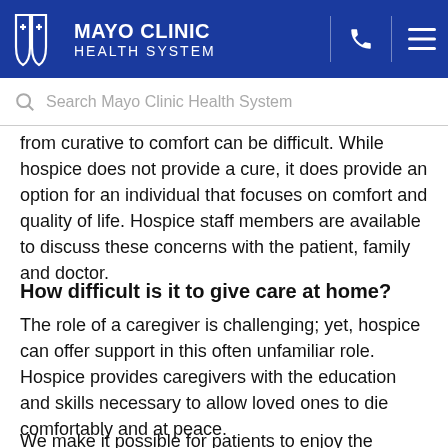MAYO CLINIC HEALTH SYSTEM
Search Mayo Clinic Health System
from curative to comfort can be difficult. While hospice does not provide a cure, it does provide an option for an individual that focuses on comfort and quality of life. Hospice staff members are available to discuss these concerns with the patient, family and doctor.
How difficult is it to give care at home?
The role of a caregiver is challenging; yet, hospice can offer support in this often unfamiliar role. Hospice provides caregivers with the education and skills necessary to allow loved ones to die comfortably and at peace.
We make it possible for patients to enjoy the comforts